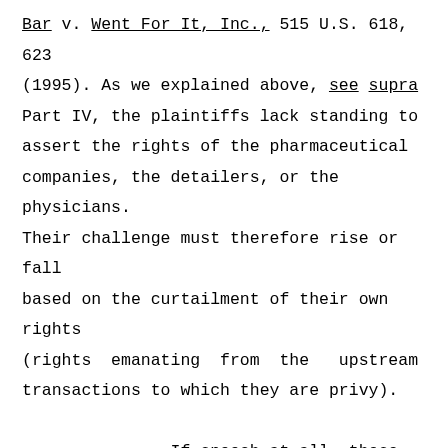Bar v. Went For It, Inc., 515 U.S. 618, 623 (1995). As we explained above, see supra Part IV, the plaintiffs lack standing to assert the rights of the pharmaceutical companies, the detailers, or the physicians. Their challenge must therefore rise or fall based on the curtailment of their own rights (rights emanating from the upstream transactions to which they are privy).

    If speech at all, these transactions are commercial speech; that is,